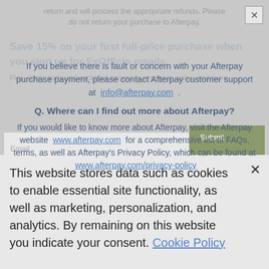return and will process the appropriate refunds. Please do not return your purchase to Afterpay.
If you believe there is fault or concern with your Afterpay purchase payment, please contact Afterpay customer support at info@afterpay.com .
Save 15% on your first full-price purchase when you sign up for ExOfficio emails.
Plus, score early and exclusive access to new gear, sales, and more.
Q. Where can I find out more about Afterpay?
If you would like to know more about Afterpay, visit the Afterpay website www.afterpay.com for a comprehensive list of FAQs, terms, as well as Afterpay's Privacy Policy, which can be found at www.afterpay.com/privacy-policy
If you have any questions about your Afterpay account, please contact Afterpay directly via a web form found here .
This website stores data such as cookies to enable essential site functionality, as well as marketing, personalization, and analytics. By remaining on this website you indicate your consent. Cookie Policy